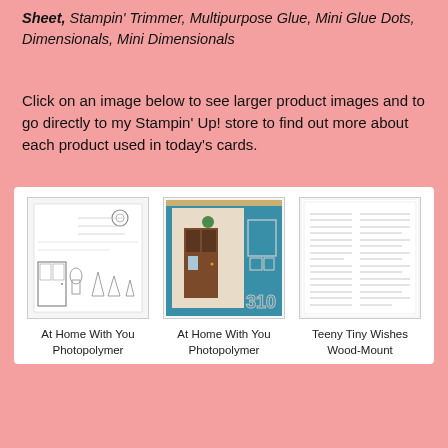Sheet, Stampin' Trimmer, Multipurpose Glue, Mini Glue Dots, Dimensionals, Mini Dimensionals
Click on an image below to see larger product images and to go directly to my Stampin' Up! store to find out more about each product used in today's cards.
[Figure (photo): At Home With You Photopolymer stamp set product image]
At Home With You Photopolymer
[Figure (photo): At Home With You Photopolymer dies/framelits product image]
At Home With You Photopolymer
[Figure (photo): Teeny Tiny Wishes Wood-Mount stamp set product image]
Teeny Tiny Wishes Wood-Mount